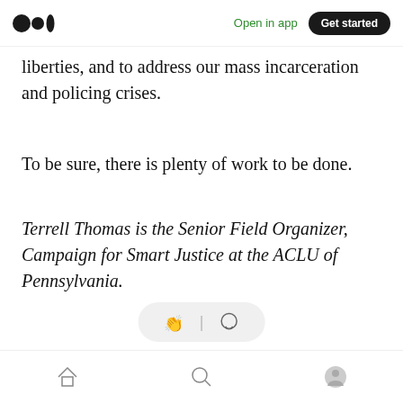Medium app header with logo, Open in app, Get started
liberties, and to address our mass incarceration and policing crises.
To be sure, there is plenty of work to be done.
Terrell Thomas is the Senior Field Organizer, Campaign for Smart Justice at the ACLU of Pennsylvania.
[Figure (other): Article action icons row: clap, comment, share, bookmark-plus. Bottom floating pill with clap and comment icons. Bottom navigation bar with home, search, profile icons.]